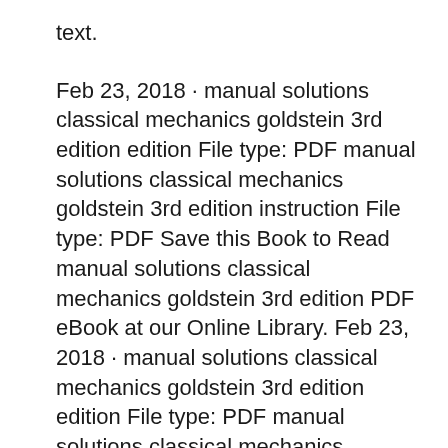text.
Feb 23, 2018 · manual solutions classical mechanics goldstein 3rd edition edition File type: PDF manual solutions classical mechanics goldstein 3rd edition instruction File type: PDF Save this Book to Read manual solutions classical mechanics goldstein 3rd edition PDF eBook at our Online Library. Feb 23, 2018 · manual solutions classical mechanics goldstein 3rd edition edition File type: PDF manual solutions classical mechanics goldstein 3rd edition instruction File type: PDF Save this Book to Read manual solutions classical mechanics goldstein 3rd edition PDF eBook at our Online Library.